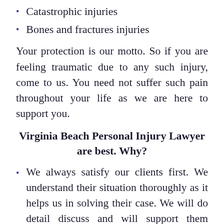Catastrophic injuries
Bones and fractures injuries
Your protection is our motto. So if you are feeling traumatic due to any such injury, come to us. You need not suffer such pain throughout your life as we are here to support you.
Virginia Beach Personal Injury Lawyer are best. Why?
We always satisfy our clients first. We understand their situation thoroughly as it helps us in solving their case. We will do detail discuss and will support them throughout the case.